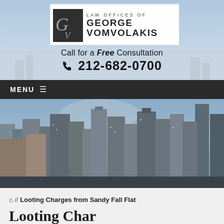[Figure (logo): Law Offices of George Vomvolakis logo with stylized GV monogram]
Call for a Free Consultation
☎ 212-682-0700
MENU ☰
[Figure (photo): Aerial photograph of New York City skyline with skyscrapers]
⌂ // Looting Charges from Sandy Fall Flat
Looting Char...